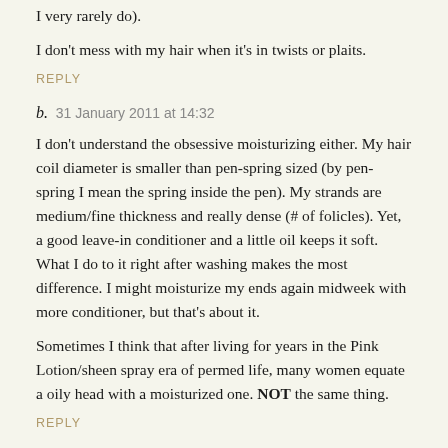I very rarely do).
I don't mess with my hair when it's in twists or plaits.
REPLY
b.  31 January 2011 at 14:32
I don't understand the obsessive moisturizing either. My hair coil diameter is smaller than pen-spring sized (by pen-spring I mean the spring inside the pen). My strands are medium/fine thickness and really dense (# of folicles). Yet, a good leave-in conditioner and a little oil keeps it soft. What I do to it right after washing makes the most difference. I might moisturize my ends again midweek with more conditioner, but that's about it.
Sometimes I think that after living for years in the Pink Lotion/sheen spray era of permed life, many women equate a oily head with a moisturized one. NOT the same thing.
REPLY